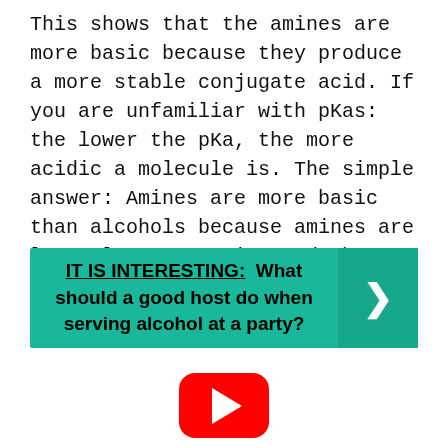This shows that the amines are more basic because they produce a more stable conjugate acid. If you are unfamiliar with pKas: the lower the pKa, the more acidic a molecule is. The simple answer: Amines are more basic than alcohols because amines are less electronegative and thus hold a positive charge better.
[Figure (infographic): Teal/green banner with bold text: 'IT IS INTERESTING: What should a good host do when serving alcohol at a party?' with a right-arrow button on the right side.]
[Figure (infographic): YouTube play button icon — red rounded rectangle with white triangle play arrow.]